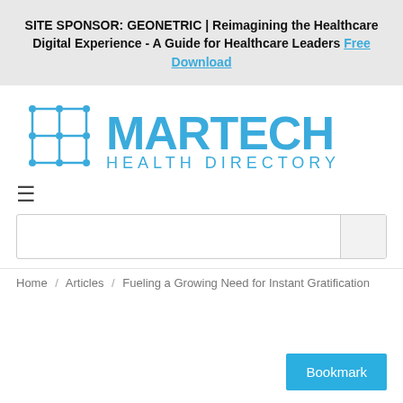SITE SPONSOR: GEONETRIC | Reimagining the Healthcare Digital Experience - A Guide for Healthcare Leaders Free Download
[Figure (logo): MarTech Health Directory logo with blue grid/network icon on left and 'MARTECH HEALTH DIRECTORY' text in blue on right]
≡
Search box with button
Home / Articles / Fueling a Growing Need for Instant Gratification
Bookmark